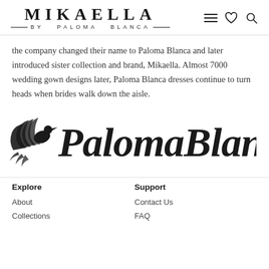MIKAELLA BY PALOMA BLANCA
the company changed their name to Paloma Blanca and later introduced sister collection and brand, Mikaella. Almost 7000 wedding gown designs later, Paloma Blanca dresses continue to turn heads when brides walk down the aisle.
[Figure (logo): Paloma Blanca script logo with a dove illustration on the left side]
Explore
Support
About
Contact Us
Collections
FAQ